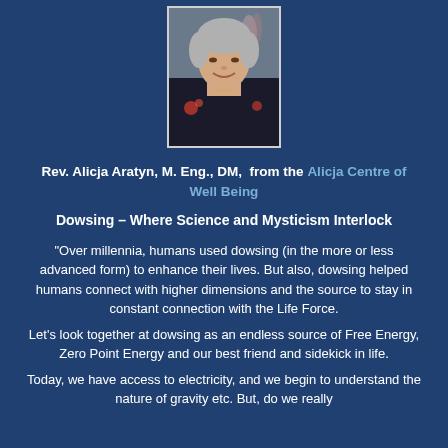[Figure (photo): Headshot of Rev. Alicja Aratyn, a middle-aged woman with short gray hair, smiling, wearing a dark floral jacket, with flowers in background]
Rev. Alicja Aratyn, M. Eng., DM,  from the Alicja Centre of Well Being
Dowsing – Where Science and Mysticism Interlock
“Over millennia, humans used dowsing (in the more or less advanced form) to enhance their lives. But also, dowsing helped humans connect with higher dimensions and the source to stay in constant connection with the Life Force.
Let’s look together at dowsing as an endless source of Free Energy, Zero Point Energy and our best friend and sidekick in life.
Today, we have access to electricity, and we begin to understand the nature of gravity etc. But, do we really